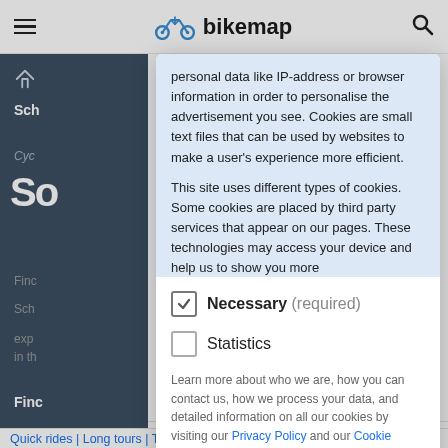bikemap
[Figure (screenshot): Bikemap website with cookie consent modal dialog overlay. The background shows the bikemap navigation bar with logo, a dark sidebar, and page content. The modal shows cookie policy text, Necessary (checked) and Statistics (unchecked) checkboxes, privacy links, and Save Selection / Accept all buttons.]
personal data like IP-address or browser information in order to personalise the advertisement you see. Cookies are small text files that can be used by websites to make a user's experience more efficient.
This site uses different types of cookies. Some cookies are placed by third party services that appear on our pages. These technologies may access your device and help us to show you more relevant advertising and your experience can be improved.
Necessary (required) — checked
Statistics — unchecked
Learn more about who we are, how you can contact us, how we process your data, and detailed information on all our cookies by visiting our Privacy Policy and our Cookie Declaration.
Save Selection | Accept all